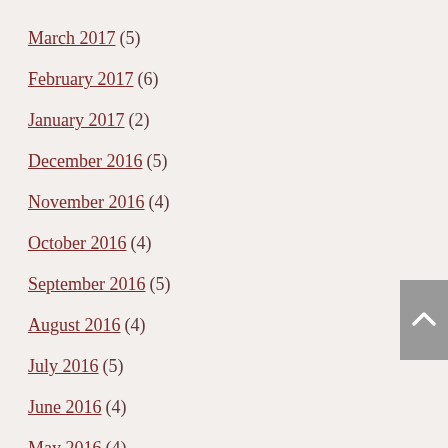March 2017 (5)
February 2017 (6)
January 2017 (2)
December 2016 (5)
November 2016 (4)
October 2016 (4)
September 2016 (5)
August 2016 (4)
July 2016 (5)
June 2016 (4)
May 2016 (4)
April 2016 (5)
March 2016 (4)